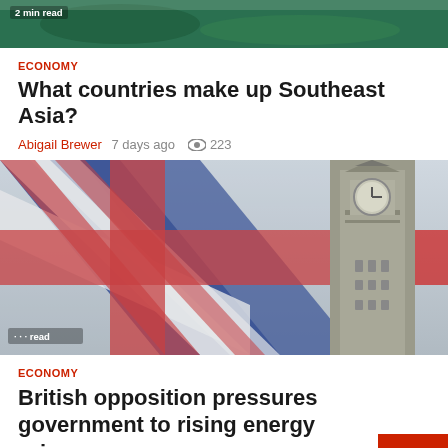[Figure (photo): Top image showing water/park scene with '2 min read' label]
ECONOMY
What countries make up Southeast Asia?
Abigail Brewer  7 days ago  223
[Figure (photo): Blurred UK Union Jack flag with Big Ben clock tower in background]
ECONOMY
British opposition pressures government to rising energy prices
Abigail Brewer  1 week ago  352